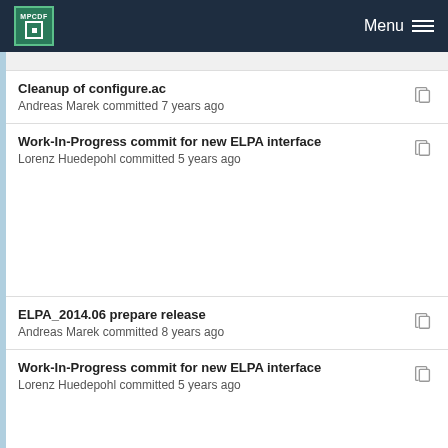MPCDF Menu
Cleanup of configure.ac
Andreas Marek committed 7 years ago
Work-In-Progress commit for new ELPA interface
Lorenz Huedepohl committed 5 years ago
ELPA_2014.06 prepare release
Andreas Marek committed 8 years ago
Work-In-Progress commit for new ELPA interface
Lorenz Huedepohl committed 5 years ago